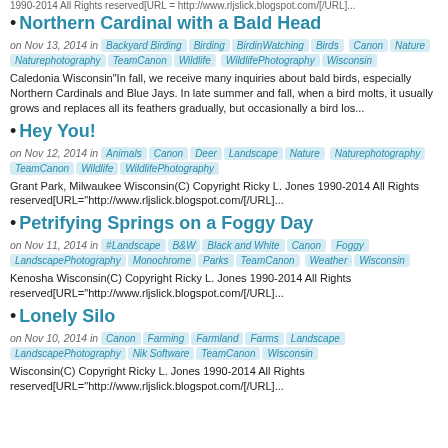1990-2014 All Rights reserved[URL = http://www.rljslick.blogspot.com/[/URL]...
Northern Cardinal with a Bald Head
on Nov 13, 2014 in  Backyard Birding  Birding  BirdinWatching  Birds  Canon  Nature  Naturephotography  TeamCanon  Wildlife  WildlifePhotography  Wisconsin
Caledonia Wisconsin"In fall, we receive many inquiries about bald birds, especially Northern Cardinals and Blue Jays. In late summer and fall, when a bird molts, it usually grows and replaces all its feathers gradually, but occasionally a bird los...
Hey You!
on Nov 12, 2014 in  Animals  Canon  Deer  Landscape  Nature  Naturephotography  TeamCanon  Wildlife  WildlifePhotography
Grant Park, Milwaukee Wisconsin(C) Copyright Ricky L. Jones 1990-2014 All Rights reserved[URL="http://www.rljslick.blogspot.com/[/URL]...
Petrifying Springs on a Foggy Day
on Nov 11, 2014 in  #Landscape  B&amp;W  Black and White  Canon  Foggy  LandscapePhotography  Monochrome  Parks  TeamCanon  Weather  Wisconsin
Kenosha Wisconsin(C) Copyright Ricky L. Jones 1990-2014 All Rights reserved[URL="http://www.rljslick.blogspot.com/[/URL]...
Lonely Silo
on Nov 10, 2014 in  Canon  Farming  Farmland  Farms  Landscape  LandscapePhotography  Nik Software  TeamCanon  Wisconsin
Wisconsin(C) Copyright Ricky L. Jones 1990-2014 All Rights reserved[URL="http://www.rljslick.blogspot.com/[/URL]...